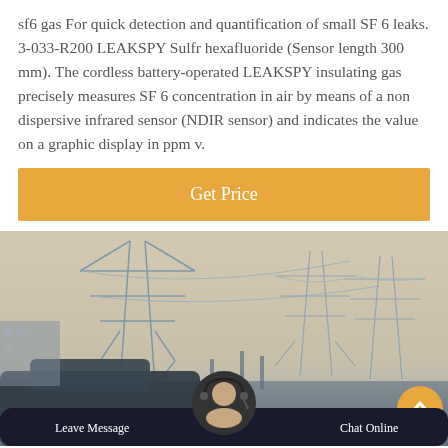sf6 gas For quick detection and quantification of small SF 6 leaks. 3-033-R200 LEAKSPY Sulfr hexafluoride (Sensor length 300 mm). The cordless battery-operated LEAKSPY insulating gas precisely measures SF 6 concentration in air by means of a non dispersive infrared sensor (NDIR sensor) and indicates the value on a graphic display in ppm v.
Get Price
[Figure (photo): Outdoor electrical power substation with transmission towers and high-voltage equipment, photographed from ground level. A vehicle is visible in the foreground. Bottom overlay shows a dark navigation bar with 'Leave Message' on the left, 'Chat Online' on the right, and a customer service agent avatar in the center.]